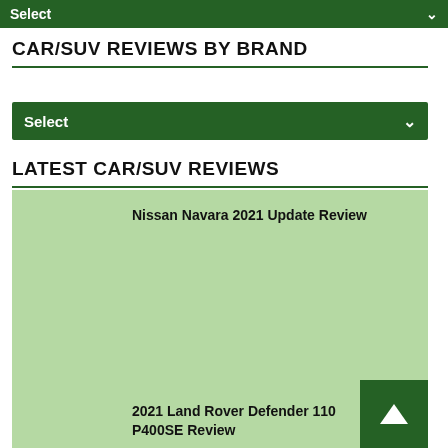Select
CAR/SUV REVIEWS BY BRAND
Select
LATEST CAR/SUV REVIEWS
Nissan Navara 2021 Update Review
2021 Land Rover Defender 110 P400SE Review
2021 Lexus IS 300 Luxury Sedan Review